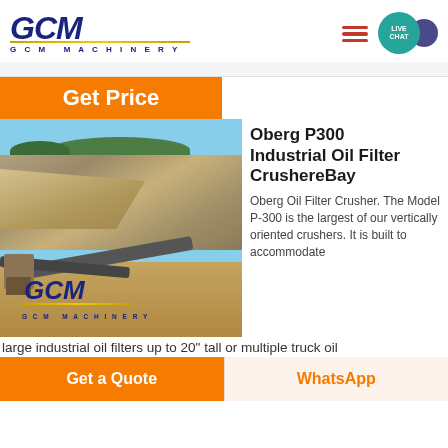[Figure (logo): GCM Machinery logo with dark blue italic stylized text and gold underline]
[Figure (illustration): Hamburger menu icon with three orange-red horizontal bars]
[Figure (illustration): Live Chat bubble icon in teal with dark purple speech bubble tail]
Get Price
[Figure (photo): Quarry site with rock face, conveyor belts, machinery, and GCM Machinery logo overlay]
Oberg P300 Industrial Oil Filter CrushereBay
Oberg Oil Filter Crusher. The Model P-300 is the largest of our vertically oriented crushers. It is built to accommodate
large industrial oil filters up to 20" tall or multiple truck oil
Get a Quote
WhatsApp